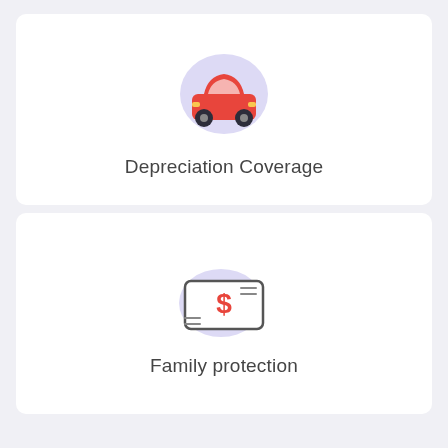[Figure (illustration): Car icon with red body and black wheels on a lavender oval background, representing depreciation coverage]
Depreciation Coverage
[Figure (illustration): Dollar bill / money icon with red dollar sign on a lavender blob background, representing family protection]
Family protection